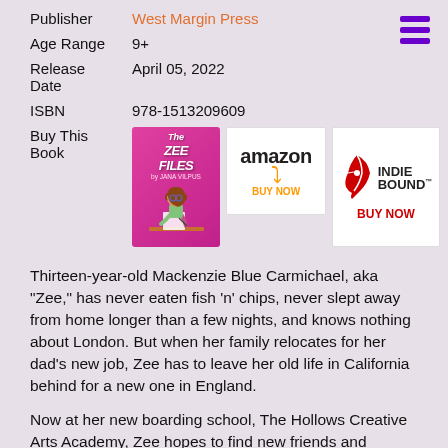| Field | Value |
| --- | --- |
| Publisher | West Margin Press |
| Age Range | 9+ |
| Release Date | April 05, 2022 |
| ISBN | 978-1513209609 |
| Buy This Book | [book cover, Amazon, IndieBound images] |
Thirteen-year-old Mackenzie Blue Carmichael, aka "Zee," has never eaten fish 'n' chips, never slept away from home longer than a few nights, and knows nothing about London. But when her family relocates for her dad's new job, Zee has to leave her old life in California behind for a new one in England.
Now at her new boarding school, The Hollows Creative Arts Academy, Zee hopes to find new friends and jumpstart her music career. But things aren't so easy. Some classes are more difficult than expected, and between a chilly roommate, a BFF who's gone MIA, and distractions from the hottest—and poshest—student in her